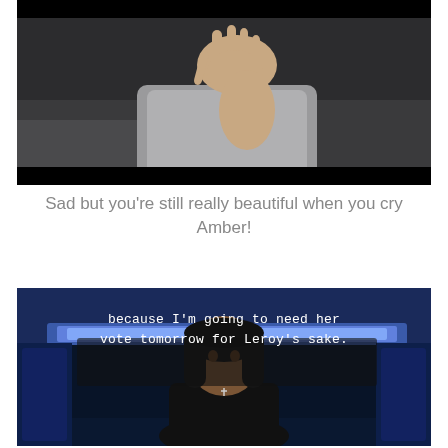[Figure (photo): Screenshot from a video showing a person lying down, wearing a grey top, with their hand raised near their face, against a dark background.]
Sad but you’re still really beautiful when you cry Amber!
[Figure (screenshot): Screenshot from a TV show with subtitle text reading 'because I'm going to need her vote tomorrow for Leroy's sake.' A woman with a dark bob haircut wearing a black t-shirt stands in a blue-lit room.]